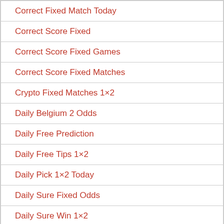Correct Fixed Match Today
Correct Score Fixed
Correct Score Fixed Games
Correct Score Fixed Matches
Crypto Fixed Matches 1×2
Daily Belgium 2 Odds
Daily Free Prediction
Daily Free Tips 1×2
Daily Pick 1×2 Today
Daily Sure Fixed Odds
Daily Sure Win 1×2
Daily Tips Sure Match
Double Chance Sure Tips
Draw Bet Online Matches
Draw Fixed Bet Today